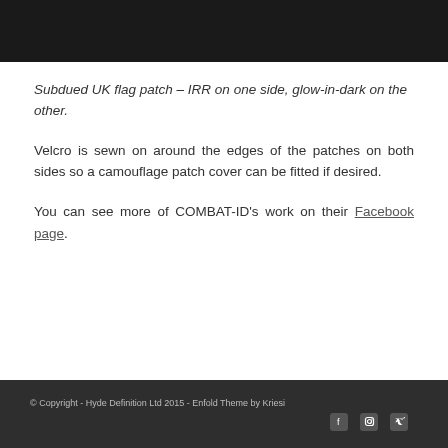[Figure (photo): Dark/black image at the top of the page, appears to be a product photo with very dark background]
Subdued UK flag patch – IRR on one side, glow-in-dark on the other.
Velcro is sewn on around the edges of the patches on both sides so a camouflage patch cover can be fitted if desired.
You can see more of COMBAT-ID's work on their Facebook page.
© Copyright - Hyde Definition Ltd 2015 - Enfold Theme by Kriesi